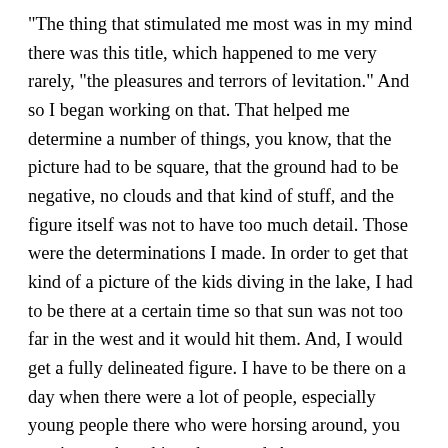“The thing that stimulated me most was in my mind there was this title, which happened to me very rarely, “the pleasures and terrors of levitation.” And so I began working on that. That helped me determine a number of things, you know, that the picture had to be square, that the ground had to be negative, no clouds and that kind of stuff, and the figure itself was not to have too much detail. Those were the determinations I made. In order to get that kind of a picture of the kids diving in the lake, I had to be there at a certain time so that sun was not too far in the west and it would hit them. And, I would get a fully delineated figure. I have to be there on a day when there were a lot of people, especially young people there who were horsing around, you see, ‘cause then things happened. A guy came up there and did a perfect swan dive, it didn’t interest me at all.” Sickind in taped conversation with Harry